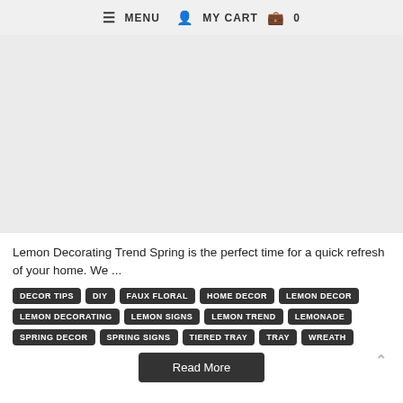≡ MENU  👤  MY CART  🛍 0
[Figure (other): Large light gray image placeholder area]
Lemon Decorating Trend Spring is the perfect time for a quick refresh of your home. We ...
DECOR TIPS
DIY
FAUX FLORAL
HOME DECOR
LEMON DECOR
LEMON DECORATING
LEMON SIGNS
LEMON TREND
LEMONADE
SPRING DECOR
SPRING SIGNS
TIERED TRAY
TRAY
WREATH
Read More